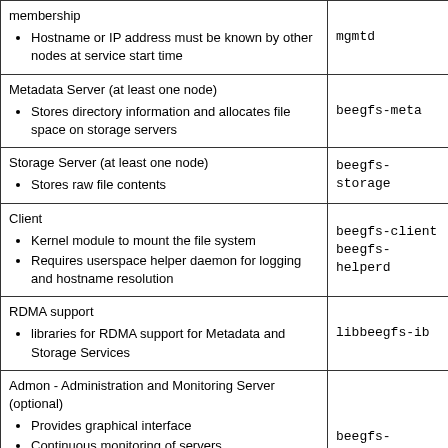| Description | Package |
| --- | --- |
| membership
• Hostname or IP address must be known by other nodes at service start time | mgmtd |
| Metadata Server (at least one node)
• Stores directory information and allocates file space on storage servers | beegfs-meta |
| Storage Server (at least one node)
• Stores raw file contents | beegfs-storage |
| Client
• Kernel module to mount the file system
• Requires userspace helper daemon for logging and hostname resolution | beegfs-client beegfs-helperd |
| RDMA support
• libraries for RDMA support for Metadata and Storage Services | libbeegfs-ib |
| Admon - Administration and Monitoring Server (optional)
• Provides graphical interface
• Continuous monitoring of servers
• Live statistics
• beegfs-mon must not be installed on the same server | beegfs-admon |